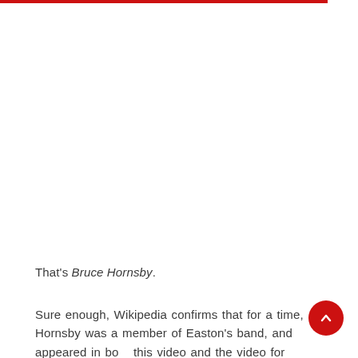That's Bruce Hornsby.
Sure enough, Wikipedia confirms that for a time, Hornsby was a member of Easton's band, and appeared in both this video and the video for "Sugar Walls."Á,  I can't